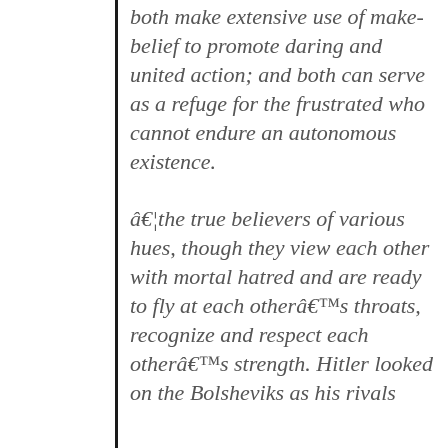both make extensive use of make-belief to promote daring and united action; and both can serve as a refuge for the frustrated who cannot endure an autonomous existence.
â€¦the true believers of various hues, though they view each other with mortal hatred and are ready to fly at each otherâ€™s throats, recognize and respect each otherâ€™s strength. Hitler looked on the Bolsheviks as his rivals...